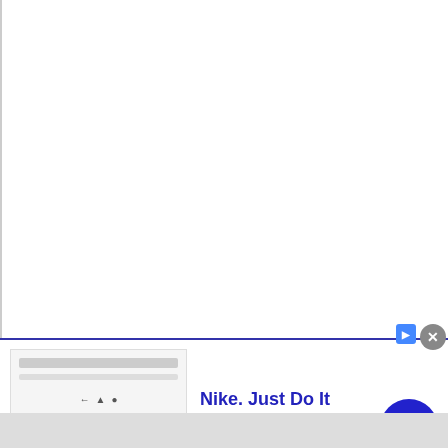[Figure (other): Blank white page content area with left border line]
[Figure (other): Advertisement banner for Nike. Contains Nike logo mockup image on left, ad text in center, and blue arrow button on right. Title: Nike. Just Do It. Description: Inspiring the world's athletes, Nike delivers the deals. URL: www.nike.com]